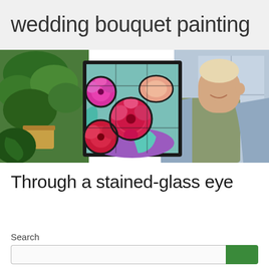wedding bouquet painting
[Figure (photo): A person smiling, holding a framed stained-glass style painting of roses and flowers, with green plants in the background.]
Through a stained-glass eye
Search